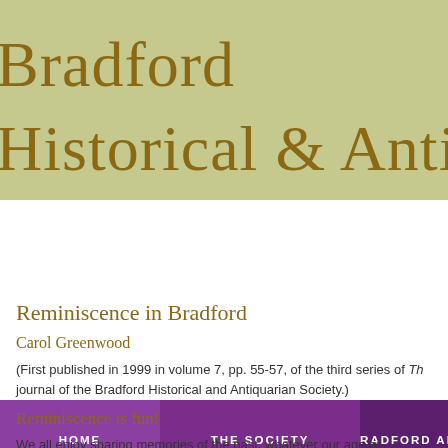Bradford Historical & Antiquaria
HOME   THE SOCIETY   THE BRADFORD ANTIQU
Reminiscence in Bradford
Carol Greenwood
(First published in 1999 in volume 7, pp. 55-57, of the third series of Th... journal of the Bradford Historical and Antiquarian Society.)
Reminiscence is fun!
We all enjoy sharing memories of the past, whatever our age or experie... whether we are remembering a favourite teacher at school with an old...